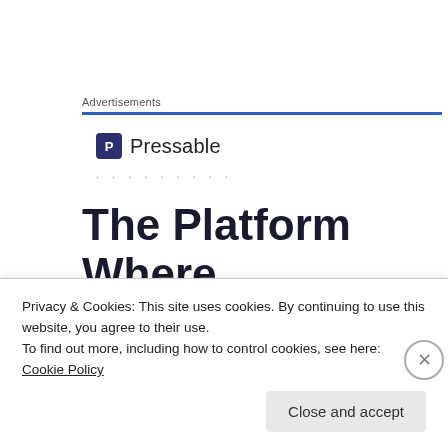Advertisements
[Figure (logo): Pressable logo with square icon and wordmark]
. . . . . . . . .
The Platform Where WordPress Works Best
Privacy & Cookies: This site uses cookies. By continuing to use this website, you agree to their use. To find out more, including how to control cookies, see here: Cookie Policy
Close and accept